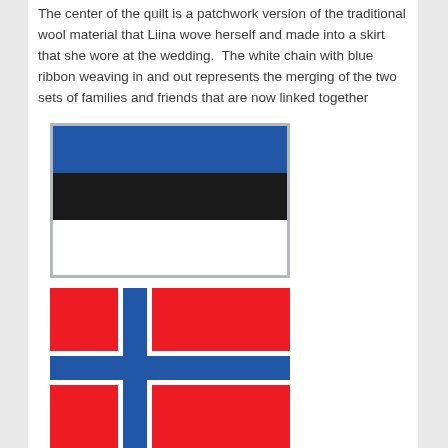The center of the quilt is a patchwork version of the traditional wool material that Liina wove herself and made into a skirt that she wore at the wedding. The white chain with blue ribbon weaving in and out represents the merging of the two sets of families and friends that are now linked together
[Figure (illustration): Estonian flag: three horizontal stripes of equal width — blue on top, black in middle, white on bottom — with a light gray border]
[Figure (illustration): Norwegian flag: red background with a blue cross outlined in white, offset to the left in Scandinavian cross style]
My intent was to have the wedding guests sign the quilt in